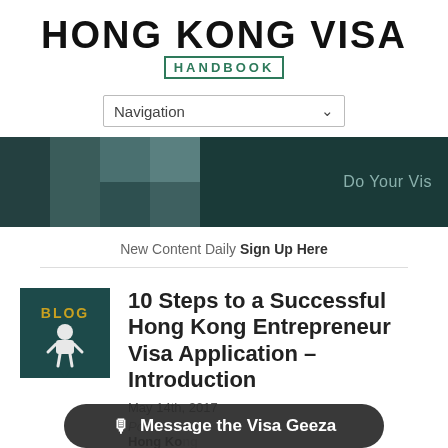HONG KONG VISA HANDBOOK
[Figure (screenshot): Navigation dropdown bar with 'Navigation' label and chevron arrow]
[Figure (screenshot): Dark teal banner with geometric square pattern on left and 'Do Your Vis' text on right]
New Content Daily Sign Up Here
[Figure (illustration): Blog icon: dark teal square with 'BLOG' text and white figure/astronaut character]
10 Steps to a Successful Hong Kong Entrepreneur Visa Application – Introduction
May 14th, 2017
Posted
Hong Kong
Message the Visa Geeza